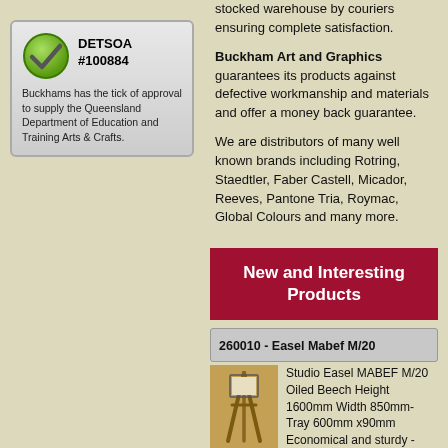[Figure (logo): DETSOA approval badge with green checkmark circle, showing DETSOA #100884 and text about Queensland Department of Education and Training Arts & Crafts approval]
stocked warehouse by couriers ensuring complete satisfaction.
Buckham Art and Graphics guarantees its products against defective workmanship and materials and offer a money back guarantee.
We are distributors of many well known brands including Rotring, Staedtler, Faber Castell, Micador, Reeves, Pantone Tria, Roymac, Global Colours and many more.
New and Interesting Products
260010 - Easel Mabef M/20
[Figure (photo): Photo of a wooden studio easel (MABEF M/20), tall tripod style in natural beech wood]
Studio Easel MABEF M/20 Oiled Beech Height 1600mm Width 850mm- Tray 600mm x90mm Economical and sturdy - MABEF offer a lifetime guarantee